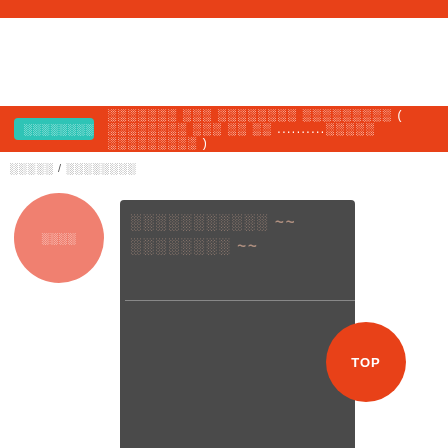░░░░░░░░ ░░░░░░░ ░░░ ░░░░░░░░ ░░░░░░░░░ ( ░░░░░░░░ ░░░ ░░ ░░ ..........░░░░░ ░░░░░░░░░ )
░░░░░ / ░░░░░░░░
[Figure (illustration): Salmon colored circle with white text label]
[Figure (illustration): Dark gray card with styled text showing tildes ~~ and a horizontal divider]
[Figure (illustration): Orange circle button with TOP label at bottom right]